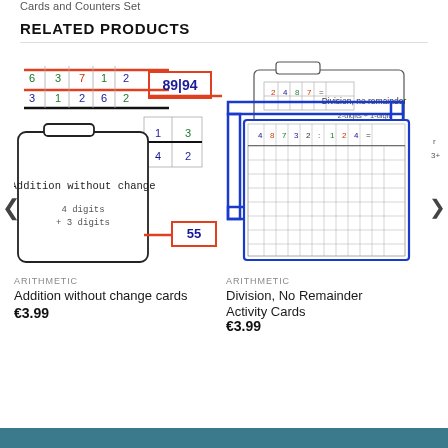RELATED PRODUCTS
[Figure (illustration): Addition without change cards product image showing activity cards with numbers and a card labeled 'Addition without change, 4 digits + 3 digits']
ARITHMETIC
Addition without change cards
€3.99
[Figure (illustration): Division No Remainder Activity Cards product image showing cards with division problems, labeled 'Division, no remainder, 2-digits ÷ 1-digit']
ARITHMETIC
Division, No Remainder Activity Cards
€3.99